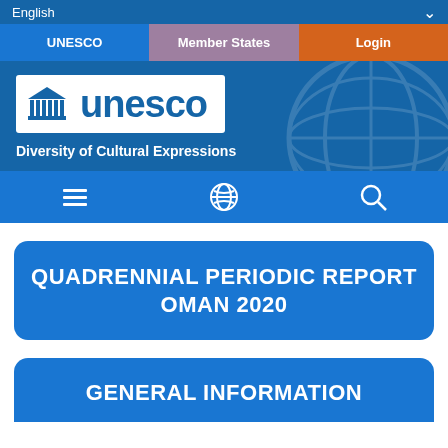English
UNESCO | Member States | Login
[Figure (logo): UNESCO logo with building icon and 'unesco' text in blue on white background, with 'Diversity of Cultural Expressions' subtitle in white below]
Menu | Globe | Search icons navigation bar
QUADRENNIAL PERIODIC REPORT OMAN 2020
GENERAL INFORMATION